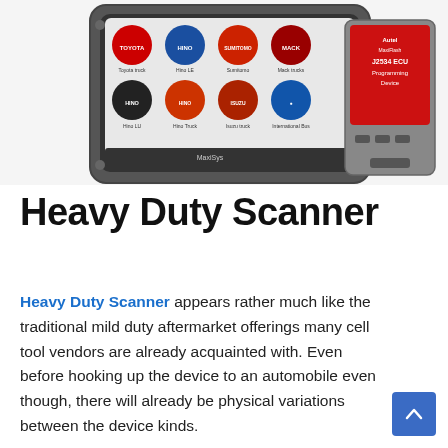[Figure (photo): Photo of a Autel MaxiSys diagnostic tablet showing vehicle brand icons on screen, alongside a J2534 ECU Programming Device module. The tablet has a rugged gray frame and the screen shows colorful brand buttons including Toyota, Hino, Isuzu, Mack and others. The J2534 device is silver and red.]
Heavy Duty Scanner
Heavy Duty Scanner appears rather much like the traditional mild duty aftermarket offerings many cell tool vendors are already acquainted with. Even before hooking up the device to an automobile even though, there will already be physical variations between the device kinds.